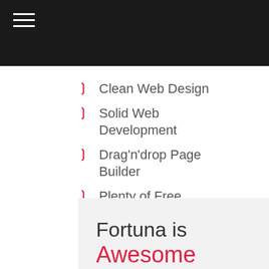Clean Web Design
Solid Web Development
Drag'n'drop Page Builder
Plenty of Free features
Awesome Plugins
Top Notch Customer support
Fortuna is
Awesome